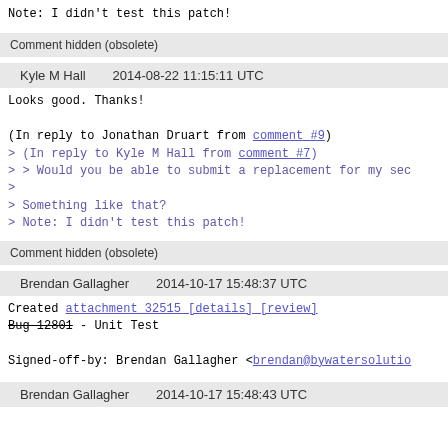Note: I didn't test this patch!
Comment hidden (obsolete)
Kyle M Hall    2014-08-22 11:15:11 UTC
Looks good. Thanks!

(In reply to Jonathan Druart from comment #9)
> (In reply to Kyle M Hall from comment #7)
> > Would you be able to submit a replacement for my sec
> 
> Something like that?
> Note: I didn't test this patch!
Comment hidden (obsolete)
Brendan Gallagher    2014-10-17 15:48:37 UTC
Created attachment 32515 [details] [review]
Bug 12801 - Unit Test

Signed-off-by: Brendan Gallagher <brendan@bywatersolutio
Brendan Gallagher    2014-10-17 15:48:43 UTC